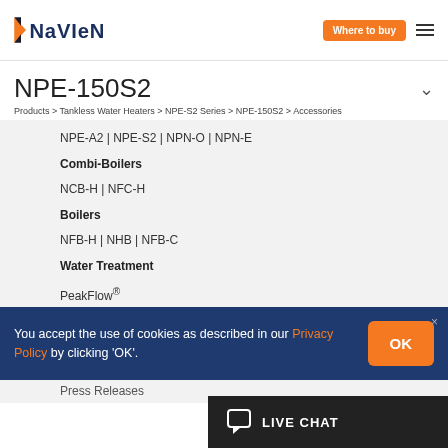Navien | Where to buy
NPE-150S2
Products > Tankless Water Heaters > NPE-S2 Series > NPE-150S2 > Accessories
NPE-A2 | NPE-S2 | NPN-O | NPN-E
Combi-Boilers
NCB-H | NFC-H
Boilers
NFB-H | NHB | NFB-C
Water Treatment
PeakFlow®
Videos & Graphics
Press Releases
You accept the use of cookies as described in our Privacy Policy by clicking 'OK'.
LIVE CHAT